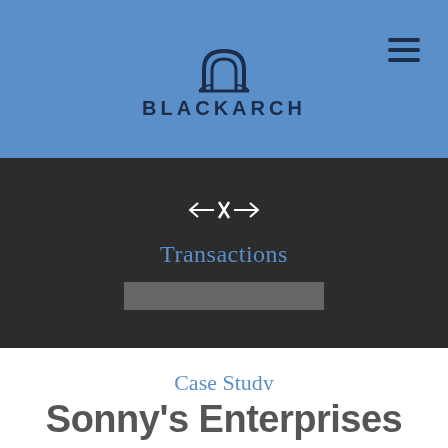[Figure (logo): BlackArch logo with arch icon and company name in dark navy on blue background]
Transactions
Case Study
Sonny's Enterprises